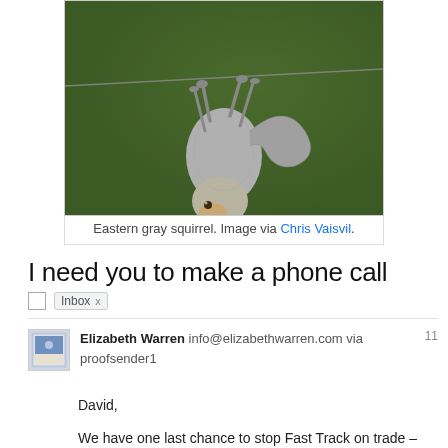[Figure (photo): Eastern gray squirrel hanging upside down from a wire, photographed against a dark green background.]
Eastern gray squirrel. Image via Chris Vaisvil.
I need you to make a phone call
Inbox x
Elizabeth Warren info@elizabethwarren.com via proofsender1  11
David,
We have one last chance to stop Fast Track on trade –